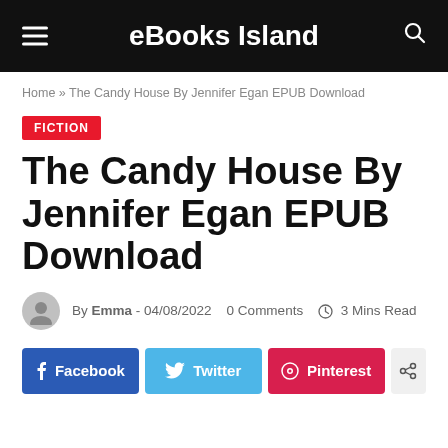eBooks Island
Home » The Candy House By Jennifer Egan EPUB Download
FICTION
The Candy House By Jennifer Egan EPUB Download
By Emma - 04/08/2022   0 Comments   3 Mins Read
[Figure (other): Social sharing buttons: Facebook, Twitter, Pinterest, Share]